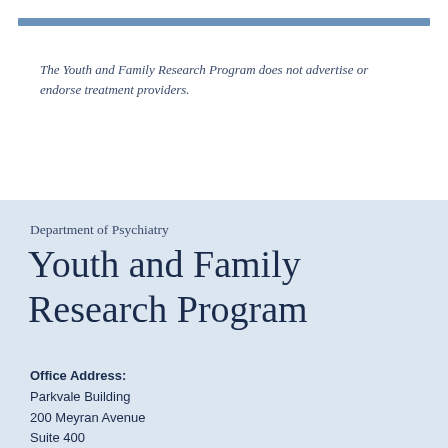The Youth and Family Research Program does not advertise or endorse treatment providers.
Department of Psychiatry
Youth and Family Research Program
Office Address:
Parkvale Building
200 Meyran Avenue
Suite 400
Pittsburgh, PA 15213